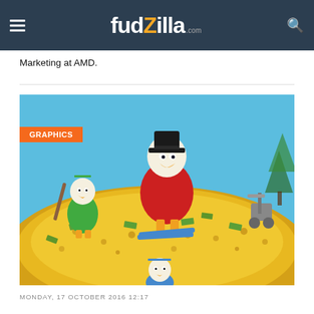fudzilla.com
Marketing at AMD.
[Figure (illustration): Cartoon illustration of Scrooge McDuck and nephews sliding/digging in a pile of gold coins and green money bills]
GRAPHICS
MONDAY, 17 OCTOBER 2016 12:17